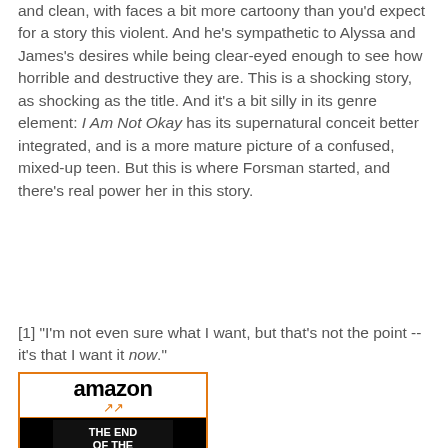and clean, with faces a bit more cartoony than you'd expect for a story this violent. And he's sympathetic to Alyssa and James's desires while being clear-eyed enough to see how horrible and destructive they are. This is a shocking story, as shocking as the title. And it's a bit silly in its genre element: I Am Not Okay has its supernatural conceit better integrated, and is a more mature picture of a confused, mixed-up teen. But this is where Forsman started, and there's real power her in this story.
[1] "I'm not even sure what I want, but that's not the point -- it's that I want it now."
[Figure (other): Amazon product listing widget showing the book 'The End Of The Fucking World' with Amazon logo and orange arrow, black book cover with red graphic and white text, and a blue link text below.]